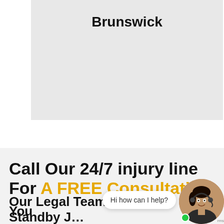[Figure (map): Gray map area showing Brunswick location]
Brunswick
Call Our 24/7 injury line For A FREE Consultation
Our Legal Team Is On Standby For You
[Figure (photo): Chat widget with female customer service representative wearing headset, with speech bubble saying Hi how can I help?]